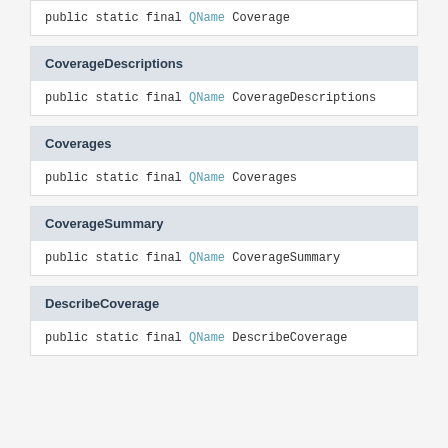public static final QName Coverage
CoverageDescriptions
public static final QName CoverageDescriptions
Coverages
public static final QName Coverages
CoverageSummary
public static final QName CoverageSummary
DescribeCoverage
public static final QName DescribeCoverage